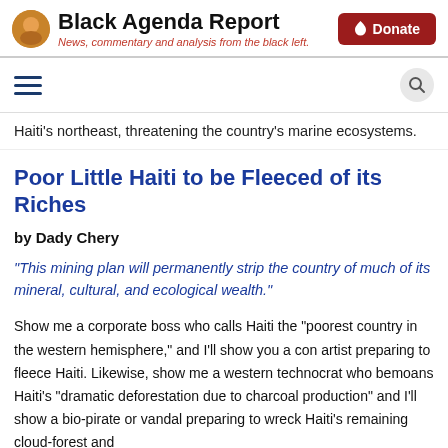Black Agenda Report — News, commentary and analysis from the black left.
Haiti's northeast, threatening the country's marine ecosystems.
Poor Little Haiti to be Fleeced of its Riches
by Dady Chery
“This mining plan will permanently strip the country of much of its mineral, cultural, and ecological wealth.”
Show me a corporate boss who calls Haiti the “poorest country in the western hemisphere,” and I’ll show you a con artist preparing to fleece Haiti. Likewise, show me a western technocrat who bemoans Haiti’s “dramatic deforestation due to charcoal production” and I’ll show a bio-pirate or vandal preparing to wreck Haiti’s remaining cloud-forest and